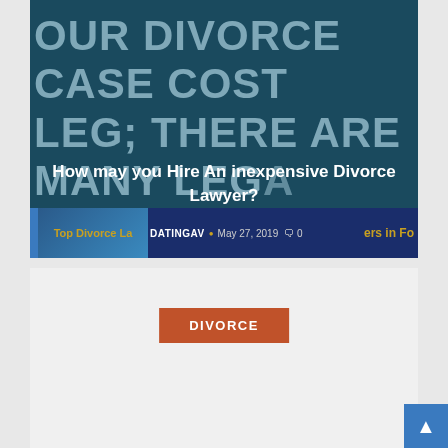[Figure (screenshot): Dark teal background with large light-blue bold text partially visible: 'YOUR DIVORCE CASE COST LEG; THERE ARE MANY LEGA EN AGENCIES AVAILABLE TO OUGH THE PROCESS.' with article title overlay 'How may you Hire An inexpensive Divorce Lawyer?' and metadata bar showing 'DATINGAV · May 27, 2019 · 0 comments' and partial image of another article 'Top Divorce Lawyers in Fo']
How may you Hire An inexpensive Divorce Lawyer?
DATINGAV · May 27, 2019 · 0
[Figure (screenshot): Light gray card with orange 'DIVORCE' badge button centered near the top]